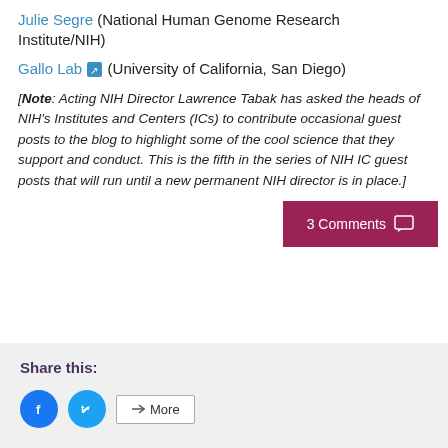Julie Segre (National Human Genome Research Institute/NIH)
Gallo Lab [external link] (University of California, San Diego)
[Note: Acting NIH Director Lawrence Tabak has asked the heads of NIH's Institutes and Centers (ICs) to contribute occasional guest posts to the blog to highlight some of the cool science that they support and conduct. This is the fifth in the series of NIH IC guest posts that will run until a new permanent NIH director is in place.]
3 Comments
Share this:
[Figure (other): Social share buttons: Facebook, Twitter, More]